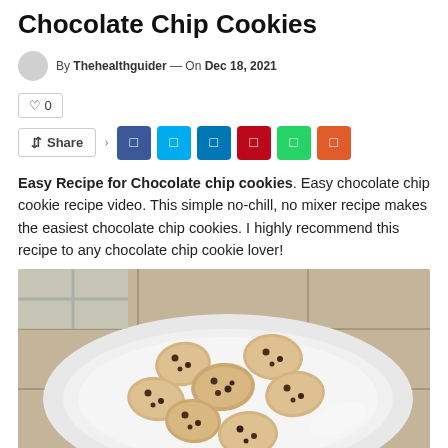Chocolate Chip Cookies
By Thehealthguider — On Dec 18, 2021
0
Share
Easy Recipe for Chocolate chip cookies. Easy chocolate chip cookie recipe video. This simple no-chill, no mixer recipe makes the easiest chocolate chip cookies. I highly recommend this recipe to any chocolate chip cookie lover!
[Figure (photo): A white plate on a tiled surface with several chocolate chip cookies arranged on it, viewed from above at a slight angle.]